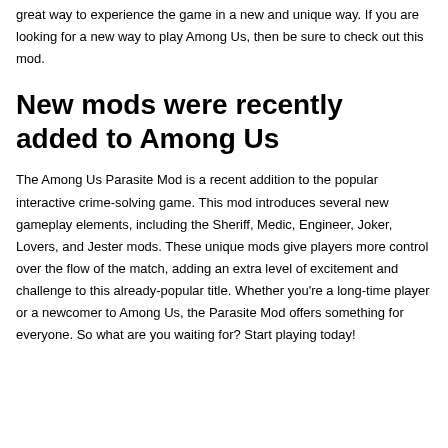great way to experience the game in a new and unique way. If you are looking for a new way to play Among Us, then be sure to check out this mod.
New mods were recently added to Among Us
The Among Us Parasite Mod is a recent addition to the popular interactive crime-solving game. This mod introduces several new gameplay elements, including the Sheriff, Medic, Engineer, Joker, Lovers, and Jester mods. These unique mods give players more control over the flow of the match, adding an extra level of excitement and challenge to this already-popular title. Whether you’re a long-time player or a newcomer to Among Us, the Parasite Mod offers something for everyone. So what are you waiting for? Start playing today!